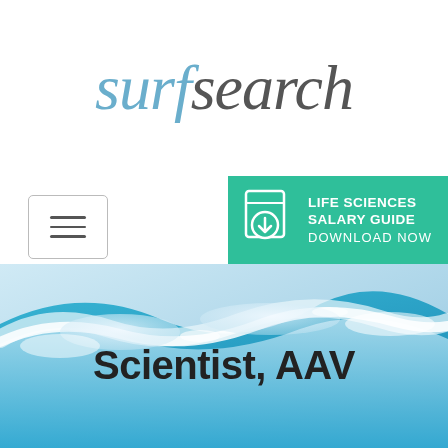surfsearch
[Figure (other): Menu/hamburger icon button with three horizontal lines inside a rounded rectangle border]
[Figure (other): Green banner with download icon and text: LIFE SCIENCES SALARY GUIDE DOWNLOAD NOW]
[Figure (photo): Ocean wave with blue water and white foam/splash background image]
Scientist, AAV